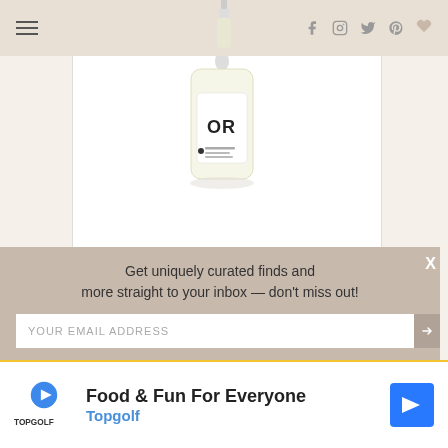Navigation bar with hamburger menu and social icons (Facebook, Instagram, Twitter, Pinterest, heart/wishlist)
[Figure (photo): Onyx + Rose Pure Bloom Mint Broad Spectrum CBD Oil product bottle with dropper, pale yellow liquid, white background]
Onyx + Rose Pure Bloom Mint Broad Spectrum CBD Oil
essentials (vertical script text on left side)
Get uniquely curated finds and more straight to your inbox — don't miss out!
YOUR EMAIL ADDRESS
[Figure (infographic): Topgolf advertisement: Food & Fun For Everyone — Topgolf, with play button icon, Topgolf logo, and navigation arrow]